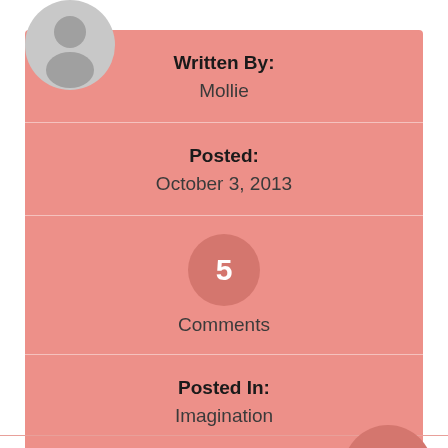[Figure (illustration): Gray silhouette avatar icon of a person, circular shape, positioned at top-left overlapping the card]
Written By:
Mollie
Posted:
October 3, 2013
5
Comments
Posted In:
Imagination
menu